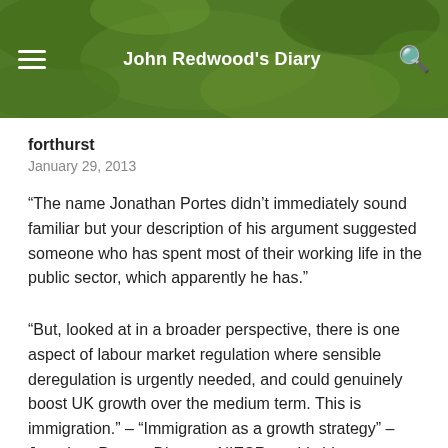John Redwood's Diary
forthurst
January 29, 2013
“The name Jonathan Portes didn’t immediately sound familiar but your description of his argument suggested someone who has spent most of their working life in the public sector, which apparently he has.”
“But, looked at in a broader perspective, there is one aspect of labour market regulation where sensible deregulation is urgently needed, and could genuinely boost UK growth over the medium term. This is immigration.” – “Immigration as a growth strategy” – Jonathan Portes, Director, NIESR, on his blog